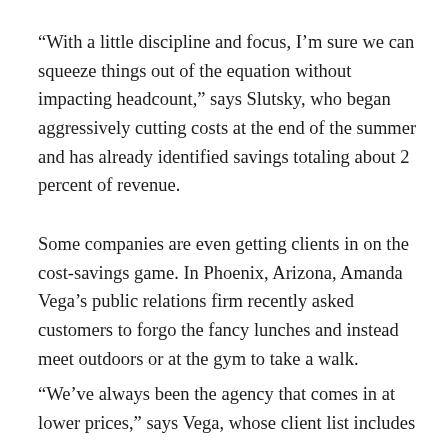“With a little discipline and focus, I’m sure we can squeeze things out of the equation without impacting headcount,” says Slutsky, who began aggressively cutting costs at the end of the summer and has already identified savings totaling about 2 percent of revenue.
Some companies are even getting clients in on the cost-savings game. In Phoenix, Arizona, Amanda Vega’s public relations firm recently asked customers to forgo the fancy lunches and instead meet outdoors or at the gym to take a walk.
“We’ve always been the agency that comes in at lower prices,” says Vega, whose client list includes many